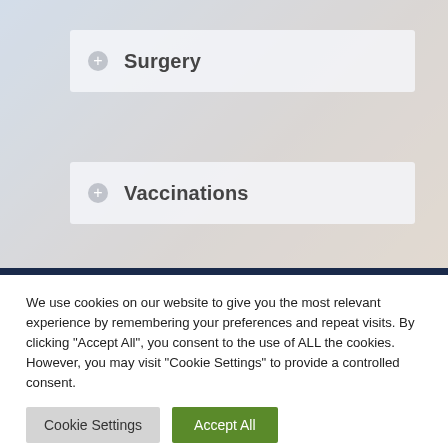Surgery
Vaccinations
Wellness Care
We use cookies on our website to give you the most relevant experience by remembering your preferences and repeat visits. By clicking "Accept All", you consent to the use of ALL the cookies. However, you may visit "Cookie Settings" to provide a controlled consent.
Cookie Settings | Accept All